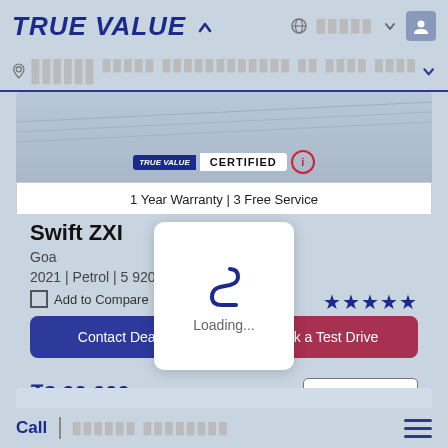TRUE VALUE
Location selector bar
[Figure (screenshot): Car image section with TRUE VALUE CERTIFIED badge]
1 Year Warranty | 3 Free Service
Swift ZXI
Goa
2021 | Petrol | 5 920 km
Add to Compare
[Figure (logo): Loading spinner with Maruti Suzuki logo and Loading... text]
₹8 00 000
Calculate EMI
Contact Dealer
Book a Test Drive
Call | ██████ ████████